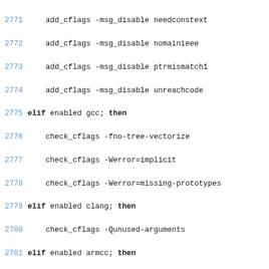Code listing lines 2771-2794, shell/build script with compiler flag configuration